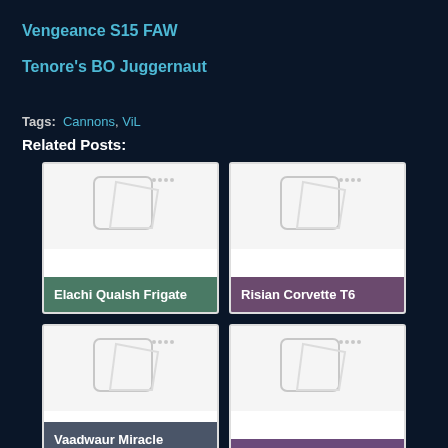Vengeance S15 FAW
Tenore's BO Juggernaut
Tags: Cannons, ViL
Related Posts:
[Figure (illustration): Card thumbnail placeholder for Elachi Qualsh Frigate]
[Figure (illustration): Card thumbnail placeholder for Risian Corvette T6]
[Figure (illustration): Card thumbnail placeholder for Vaadwaur Miracle Worker Juggernaut]
[Figure (illustration): Card thumbnail placeholder for Fek'Ihri S'torr Warship]